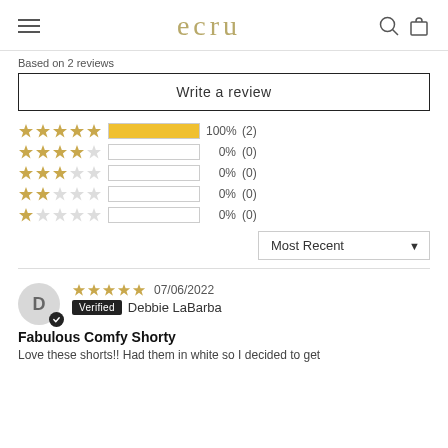ecru
Based on 2 reviews
Write a review
[Figure (bar-chart): Rating distribution]
Most Recent
D
Verified Debbie LaBarba
07/06/2022
Fabulous Comfy Shorty
Love these shorts!! Had them in white so I decided to get